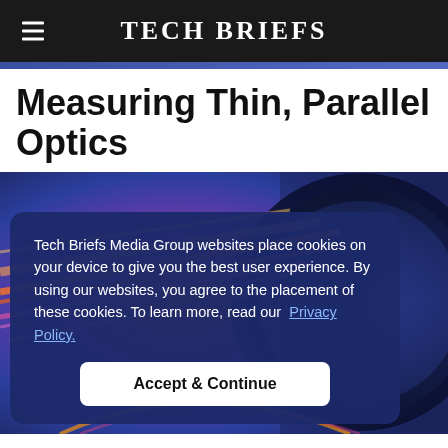Tech Briefs
Measuring Thin, Parallel Optics
[Figure (photo): Close-up photograph of optical lenses with colorful light refractions — orange, pink, and purple streaks against a blue background, with a circular lens element visible on the right side.]
Tech Briefs Media Group websites place cookies on your device to give you the best user experience. By using our websites, you agree to the placement of these cookies. To learn more, read our Privacy Policy.
Accept & Continue